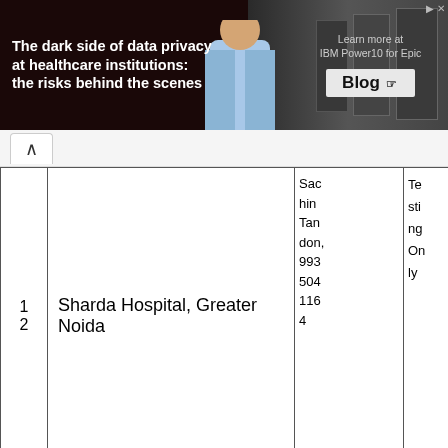[Figure (screenshot): Banner advertisement: 'The dark side of data privacy at healthcare institutions: the risks behind the scenes' with IBM Power10 for Epic Blog promotion]
| # | Hospital | Contact | Status |
| --- | --- | --- | --- |
| 12 | Sharda Hospital, Greater Noida | Sachin Tandon, 9935041164 | Testing Only |
| 13 | Jaypee Hospital, Noida | Mr. Yogesh Kumar, 9... | Testing On... |